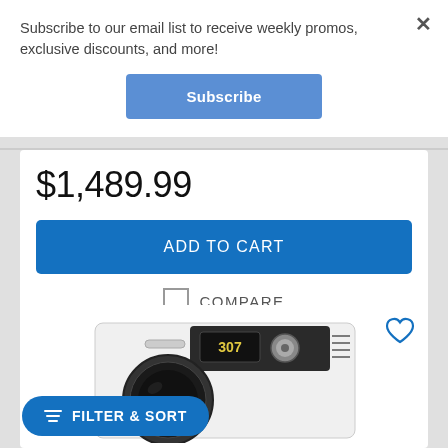Subscribe to our email list to receive weekly promos, exclusive discounts, and more!
Subscribe
$1,489.99
ADD TO CART
COMPARE
[Figure (photo): Front-load washing machine with dark drum and digital display panel]
FILTER & SORT